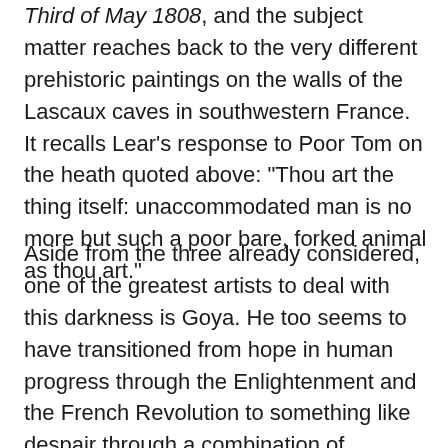Third of May 1808, and the subject matter reaches back to the very different prehistoric paintings on the walls of the Lascaux caves in southwestern France. It recalls Lear's response to Poor Tom on the heath quoted above: "Thou art the thing itself: unaccommodated man is no more but such a poor bare, forked animal as thou art."
Aside from the three already considered, one of the greatest artists to deal with this darkness is Goya. He too seems to have transitioned from hope in human progress through the Enlightenment and the French Revolution to something like despair through a combination of personal misfortune (deafness and illness) and political disillusionment as a result of the occupation of Spain by the French army and the restoration of the reactionary Bourbon monarchy. In his